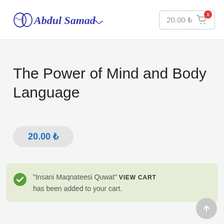[Figure (logo): Abdul Samad logo in blue italic serif font with brain and wave graphic elements]
20.00 ₺ [cart icon with badge showing 1]
The Power of Mind and Body Language
20.00 ₺
"Insani Maqnateesi Quwat" VIEW CART has been added to your cart.